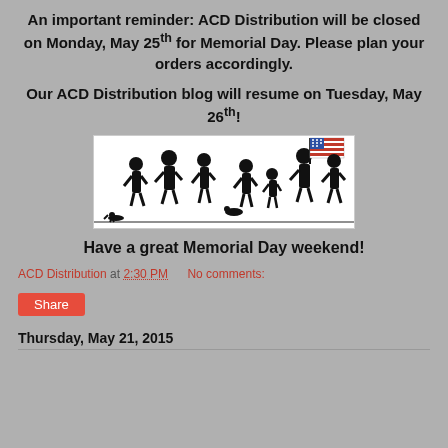An important reminder: ACD Distribution will be closed on Monday, May 25th for Memorial Day. Please plan your orders accordingly.
Our ACD Distribution blog will resume on Tuesday, May 26th!
[Figure (illustration): Silhouette illustration of children marching in a parade, with the last child carrying an American flag with red and white stripes and blue canton with stars.]
Have a great Memorial Day weekend!
ACD Distribution at 2:30 PM   No comments:
Share
Thursday, May 21, 2015